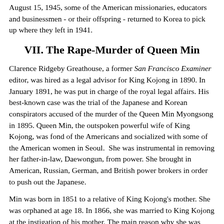August 15, 1945, some of the American missionaries, educators and businessmen - or their offspring - returned to Korea to pick up where they left in 1941.
VII. The Rape-Murder of Queen Min
Clarence Ridgeby Greathouse, a former San Francisco Examiner editor, was hired as a legal advisor for King Kojong in 1890. In January 1891, he was put in charge of the royal legal affairs. His best-known case was the trial of the Japanese and Korean conspirators accused of the murder of the Queen Min Myongsong in 1895. Queen Min, the outspoken powerful wife of King Kojong, was fond of the Americans and socialized with some of the American women in Seoul.  She was instrumental in removing her father-in-law, Daewongun, from power. She brought in American, Russian, German, and British power brokers in order to push out the Japanese.
Min was born in 1851 to a relative of King Kojong's mother. She was orphaned at age 18. In 1866, she was married to King Kojong at the instigation of his mother. The main reason why she was chosen was that she had no close relatives and so, she would not bring any new unwanted influence peddlers in the royal court. In addition, she was already in the royal family circle on account of her relation to the King's mother.